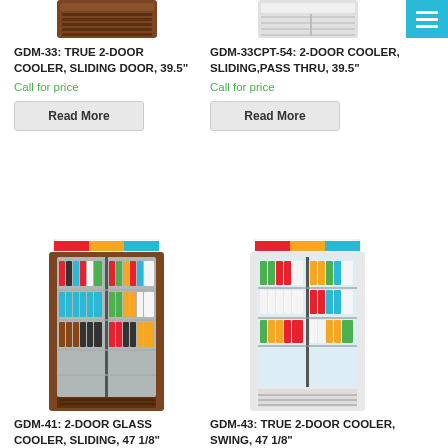[Figure (photo): Top portion of a brown wood-grain 2-door sliding cooler, cropped at top]
GDM-33: TRUE 2-DOOR COOLER, SLIDING DOOR, 39.5"
Call for price
Read More
[Figure (photo): Top portion of a white 2-door sliding pass-thru cooler, cropped at top]
GDM-33CPT-54: 2-DOOR COOLER, SLIDING,PASS THRU, 39.5"
Call for price
Read More
[Figure (photo): Full brown wood-grain 2-door glass sliding cooler GDM-41 with colorful stripe logo on top]
GDM-41: 2-DOOR GLASS COOLER, SLIDING, 47 1/8"
[Figure (photo): Full white 2-door glass swing cooler GDM-43 with colorful stripe logo on top]
GDM-43: TRUE 2-DOOR COOLER, SWING, 47 1/8"